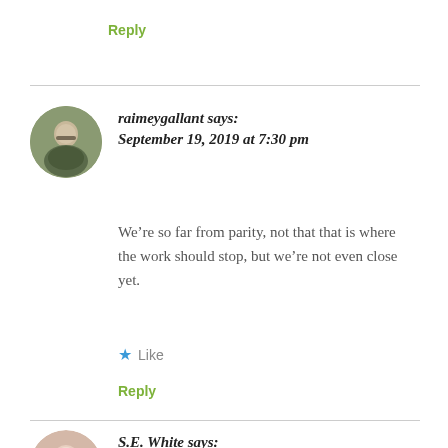Reply
raimeygallant says:
September 19, 2019 at 7:30 pm
We’re so far from parity, not that that is where the work should stop, but we’re not even close yet.
★ Like
Reply
S.E. White says:
September 18, 2019 at 2:47 pm